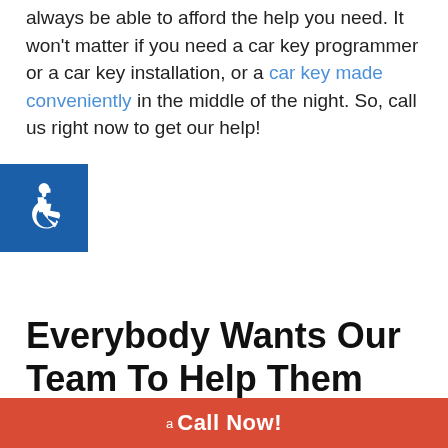always be able to afford the help you need. It won't matter if you need a car key programmer or a car key installation, or a car key made conveniently in the middle of the night. So, call us right now to get our help!
[Figure (illustration): Blue accessibility wheelchair icon badge]
Everybody Wants Our Team To Help Them
Ask your neighbors who is the best team to help you. You'll see that everybody says you have to call our team because every client who calls us ends up happy with our work results. Every time our clients get the best help in the area. That's because we work fast and efficiently every time they call us to help.
A Whole New Level!
Call Now!